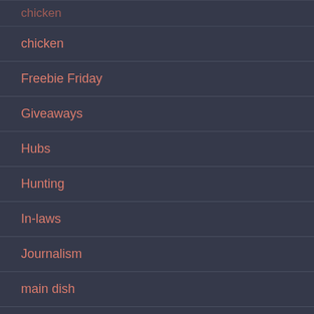chicken
Freebie Friday
Giveaways
Hubs
Hunting
In-laws
Journalism
main dish
Mama's comfort food
Motherhood